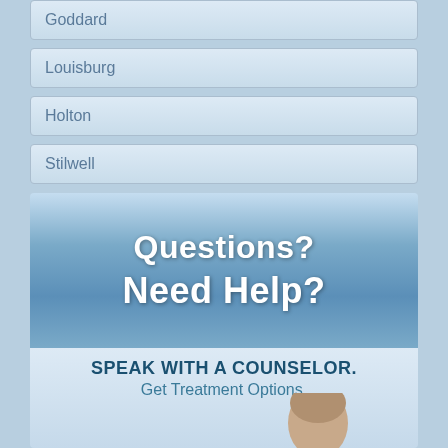Goddard
Louisburg
Holton
Stilwell
[Figure (infographic): Banner with blue gradient background showing 'Questions? Need Help?' in large white bold text, followed by a lower section with 'SPEAK WITH A COUNSELOR. Get Treatment Options.' text and a partial photo of a person's head.]